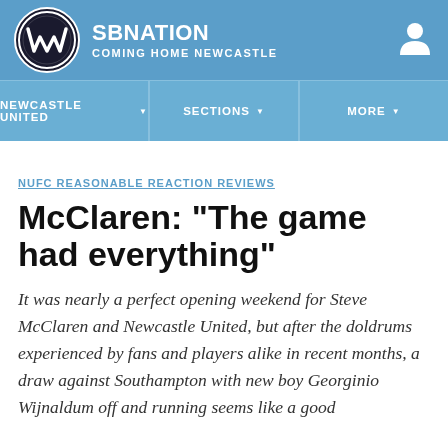SBNATION | COMING HOME NEWCASTLE
NEWCASTLE UNITED | SECTIONS | MORE
NUFC REASONABLE REACTION REVIEWS
McClaren: "The game had everything"
It was nearly a perfect opening weekend for Steve McClaren and Newcastle United, but after the doldrums experienced by fans and players alike in recent months, a draw against Southampton with new boy Georginio Wijnaldum off and running seems like a good